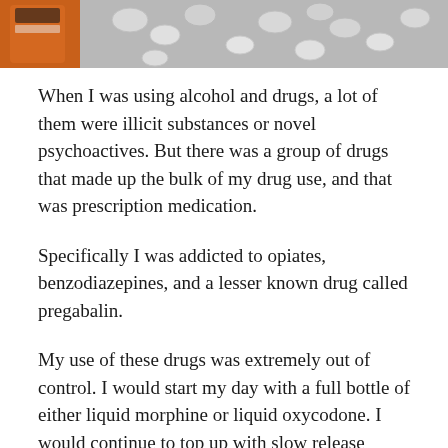[Figure (photo): Close-up photo of prescription medication bottles and pills including an orange pill bottle and various white/grey tablets and capsules scattered around]
When I was using alcohol and drugs, a lot of them were illicit substances or novel psychoactives. But there was a group of drugs that made up the bulk of my drug use, and that was prescription medication.
Specifically I was addicted to opiates, benzodiazepines, and a lesser known drug called pregabalin.
My use of these drugs was extremely out of control. I would start my day with a full bottle of either liquid morphine or liquid oxycodone. I would continue to top up with slow release oxycodone throughout the day.
I would take around 200mg valium a day, not to mention the clonazepam and lorazepam that I was also prescribed.